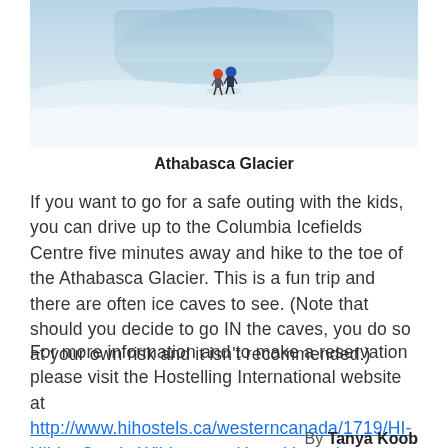[Figure (photo): Two people (one in red jacket, one in blue jacket) walking on Athabasca Glacier with snowy/icy landscape and blue glacier in background]
Athabasca Glacier
If you want to go for a safe outing with the kids, you can drive up to the Columbia Icefields Centre five minutes away and hike to the toe of the Athabasca Glacier. This is a fun trip and there are often ice caves to see. (Note that should you decide to go IN the caves, you do so at your own risk and it isn't recommended.)
For more information and to make a reservation please visit the Hostelling International website at http://www.hihostels.ca/westerncanada/1719/HI-Hilda_Creek_Wilderness_Hostel.hostel
By Tanya Koob